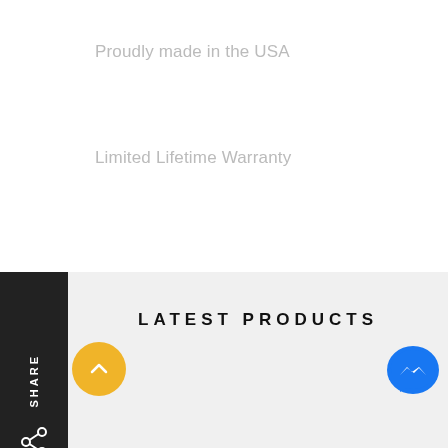Proudly made in the USA
Limited Lifetime Warranty
LATEST PRODUCTS
AVS Black Louvered Window Guards For
[Figure (photo): Black louvered window guard installed on a vehicle]
AVS Smoke Side Window Deflectors For Dodge Ram
[Figure (photo): Smoke side window deflectors on a Dodge Ram truck door]